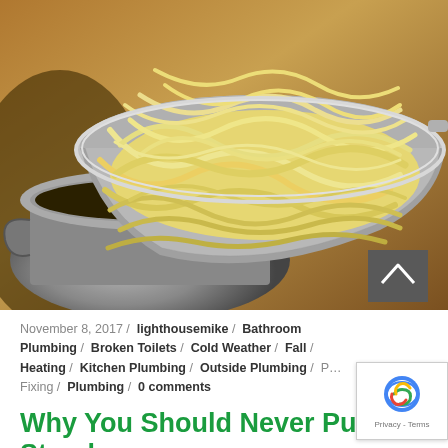[Figure (photo): Cooked fettuccine pasta draining in a metal mesh colander/strainer basket set over a stainless steel pot, photographed close-up on a wooden surface background]
November 8, 2017 / lighthousemike / Bathroom Plumbing / Broken Toilets / Cold Weather / Fall / Heating / Kitchen Plumbing / Outside Plumbing / P... Fixing / Plumbing / 0 comments
Why You Should Never Put Starchy